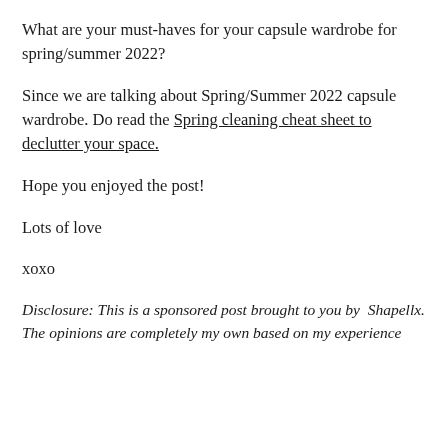What are your must-haves for your capsule wardrobe for spring/summer 2022?
Since we are talking about Spring/Summer 2022 capsule wardrobe. Do read the Spring cleaning cheat sheet to declutter your space.
Hope you enjoyed the post!
Lots of love
xoxo
Disclosure: This is a sponsored post brought to you by Shapellx. The opinions are completely my own based on my experience